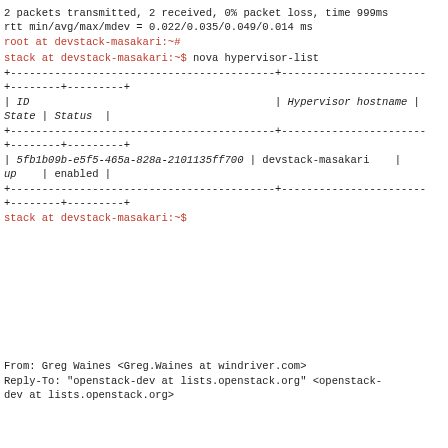2 packets transmitted, 2 received, 0% packet loss, time 999ms
rtt min/avg/max/mdev = 0.022/0.035/0.049/0.014 ms
root at devstack-masakari:~#
stack at devstack-masakari:~$ nova hypervisor-list
+------------------------------------------+-----------------------
+--------+---------+
| ID                                       | Hypervisor hostname |
State | Status |
+------------------------------------------+-----------------------
+--------+---------+
| 5fb1b09b-e5f5-465a-828a-2101135ff700 | devstack-masakari   |
up    | enabled |
+------------------------------------------+-----------------------
+--------+---------+
stack at devstack-masakari:~$
From: Greg Waines <Greg.Waines at windriver.com>
Reply-To: "openstack-dev at lists.openstack.org" <openstack-
dev at lists.openstack.org>